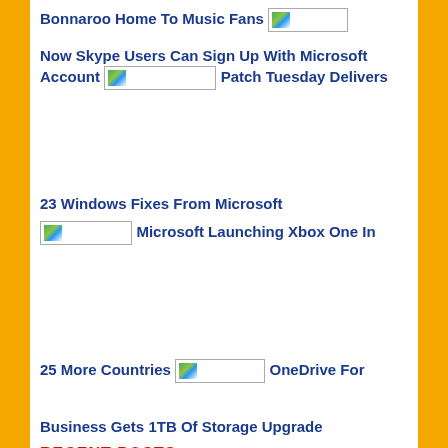Bonnaroo Home To Music Fans
[Figure (photo): Broken image placeholder]
Now Skype Users Can Sign Up With Microsoft Account
[Figure (photo): Broken image placeholder]
Patch Tuesday Delivers
23 Windows Fixes From Microsoft
[Figure (photo): Broken image placeholder]
Microsoft Launching Xbox One In
25 More Countries
[Figure (photo): Broken image placeholder]
OneDrive For
Business Gets 1TB Of Storage Upgrade
RECENT POSTS